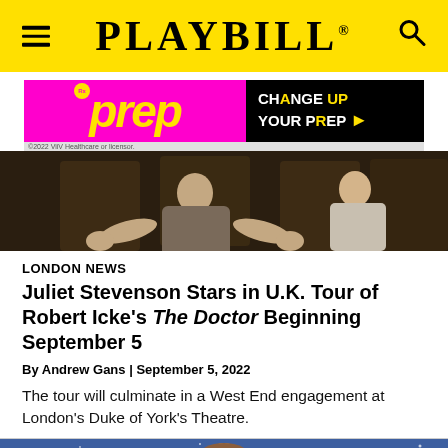PLAYBILL
[Figure (photo): Advertisement banner for PrEP medication - CHANGE UP YOUR PrEP]
[Figure (photo): Theater production photo showing actors on stage, two figures with hands outstretched]
LONDON NEWS
Juliet Stevenson Stars in U.K. Tour of Robert Icke's The Doctor Beginning September 5
By Andrew Gans | September 5, 2022
The tour will culminate in a West End engagement at London's Duke of York's Theatre.
[Figure (photo): Person smiling in front of The Little Prince branded backdrop]